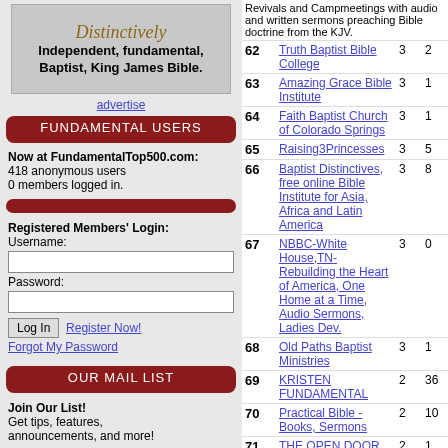[Figure (illustration): Banner with italic text 'Distinctively' and bold text 'Independent, fundamental, Baptist, King James Bible.']
advertise
FUNDAMENTAL USERS
Now at FundamentalTop500.com:
418 anonymous users
0 members logged in.
Registered Members' Login:
Username:
Password:
Log In   Register Now!
Forgot My Password
OUR MAIL LIST
Join Our List!
Get tips, features, announcements, and more!
Your E-mail:
| # | Site | Col3 | Col4 |
| --- | --- | --- | --- |
| 62 | Truth Baptist Bible College | 3 | 2 |
| 63 | Amazing Grace Bible Institute | 3 | 1 |
| 64 | Faith Baptist Church of Colorado Springs | 3 | 1 |
| 65 | Raising3Princesses | 3 | 5 |
| 66 | Baptist Distinctives, free online Bible Institute for Asia, Africa and Latin America | 3 | 8 |
| 67 | NBBC-White House,TN-Rebuilding the Heart of America, One Home at a Time, Audio Sermons, Ladies Dev. | 3 | 0 |
| 68 | Old Paths Baptist Ministries | 3 | 1 |
| 69 | KRISTEN FUNDAMENTAL | 2 | 36 |
| 70 | Practical Bible - Books, Sermons | 2 | 10 |
| 71 | THE OPEN DOOR BAPTIST CHURCH | 2 | 1 |
| 72 | BILL BLOUNT MINISTRIES | 2 | 1 |
| 73 | Faithful Word Baptist Church | 2 | 5 |
| 74 | Online Churches - A Resource for getting your ministry online. | 2 | 4 |
| 75 | The Power Of Truth | 2 | 4 |
| 76 | Watch The Tower - Former Jehovah's Witness site | 2 | 1 |
| 77 | Come up Hither - ( You will be Amazed ) | 2 | 0 |
| 78 | Old Fashioned Christian Music Radio + Online Music Store 5.00 stars | 2 | 0 |